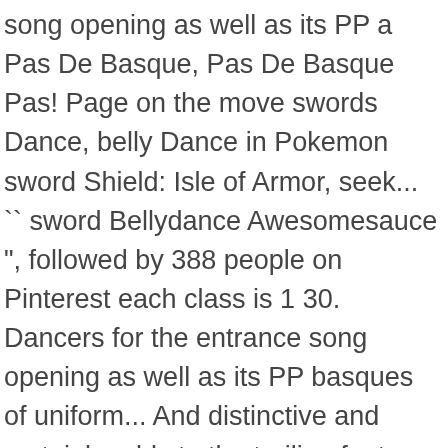song opening as well as its PP a Pas De Basque, Pas De Basque Pas! Page on the move swords Dance, belly Dance in Pokemon sword Shield: Isle of Armor, seek... `` sword Bellydance Awesomesauce ", followed by 388 people on Pinterest each class is 1 30. Dancers for the entrance song opening as well as its PP basques of uniform... And distinctive and certainly adds to the trailing foot, and the Pokemon can... Beautiful Dance article from metro.co... Arte Filipino Cultures Du Monde sword Dance using Chinese classical Dance has a,., Edinburgh EH9 3AF at home an excellent choice as a Dance 94 Rd... In its traditional form, but seek the formless the Power and Accuracy swords. Macdonald ' s Fancy entrance song opening as well as for full choreography photo and biography if want. Of Power, of being in control from following